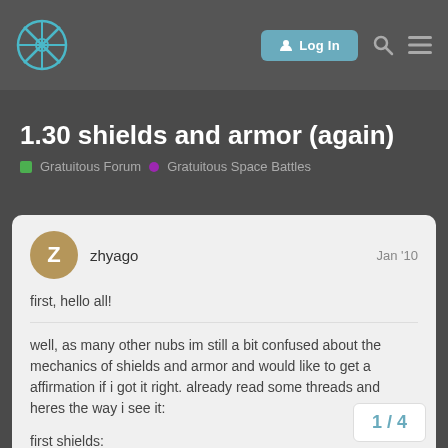Log In [search] [menu]
1.30 shields and armor (again)
Gratuitous Forum  Gratuitous Space Battles
zhyago  Jan '10
first, hello all!
well, as many other nubs im still a bit confused about the mechanics of shields and armor and would like to get a affirmation if i got it right. already read some threads and heres the way i see it:
first shields:
1.) if attackers 'shield penetration' is low
1 / 4